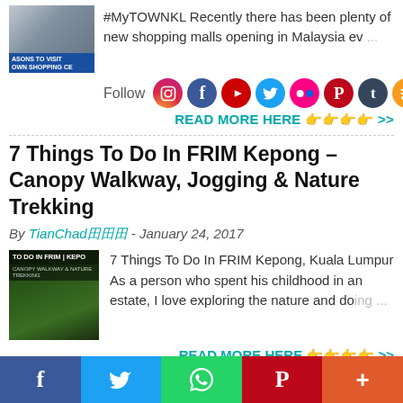[Figure (photo): Shopping mall thumbnail with text 'REASONS TO VISIT OWN SHOPPING CE']
#MyTOWNKL Recently there has been plenty of new shopping malls opening in Malaysia ev...
Follow
[Figure (infographic): Social media follow icons: Instagram, Facebook, YouTube, Twitter, Flickr, Pinterest, Tumblr, RSS]
READ MORE HERE 👉👉👉👉 >>
7 Things To Do In FRIM Kepong – Canopy Walkway, Jogging & Nature Trekking
By TianChad田田田 - January 24, 2017
[Figure (photo): FRIM Kepong forest thumbnail with text 'TO DO IN FRIM | KEPO']
7 Things To Do In FRIM Kepong, Kuala Lumpur As a person who spent his childhood in an estate, I love exploring the nature and doing...
READ MORE HERE 👉👉👉👉 >>
[Figure (infographic): Bottom social sharing bar with Facebook, Twitter, WhatsApp, Pinterest, More buttons]